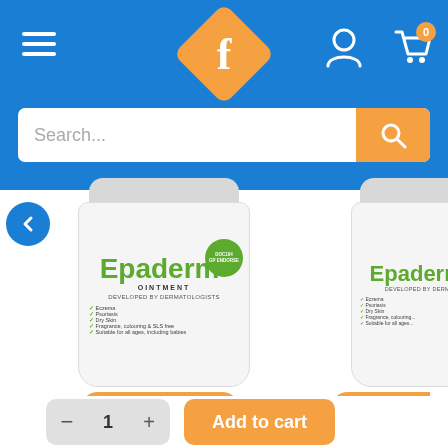[Figure (screenshot): Blue navigation header with hamburger menu icon on left, orange diamond-shaped logo with letter f in center, user account and shopping cart icons on right, orange cart badge showing 0]
[Figure (screenshot): Search bar with placeholder text 'Search...' and orange search button on right]
[Figure (photo): Two Epaderm Ointment product jars side by side. Left jar fully visible: white cylindrical container with green Epaderm branding, 'OINTMENT' subtitle, 'DEVELOPED BY DERMATOLOGISTS', checklist of Eczema, Psoriasis, Dry Skin, Fragrance colouring & SLS free, Suitable for all ages including babies, green oval badge. Right jar partially cropped showing same branding.]
[Figure (screenshot): Quantity selector showing minus button, value 1, plus button. Add to cart orange button. Orange add buttons partially visible above each product.]
Search...
0
Add to cart
1